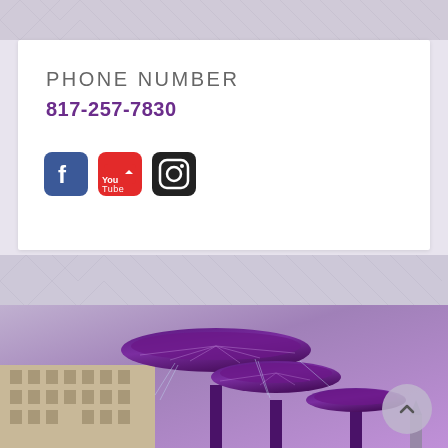PHONE NUMBER
817-257-7830
[Figure (illustration): Social media icons: Facebook, YouTube, Instagram]
[Figure (photo): Purple illuminated fountain sculpture at TCU campus with buildings in background, dusk/purple-toned sky]